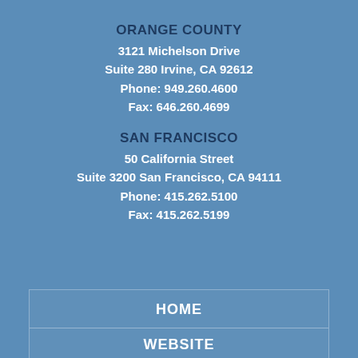ORANGE COUNTY
3121 Michelson Drive
Suite 280 Irvine, CA 92612
Phone: 949.260.4600
Fax: 646.260.4699
SAN FRANCISCO
50 California Street
Suite 3200 San Francisco, CA 94111
Phone: 415.262.5100
Fax: 415.262.5199
HOME
WEBSITE